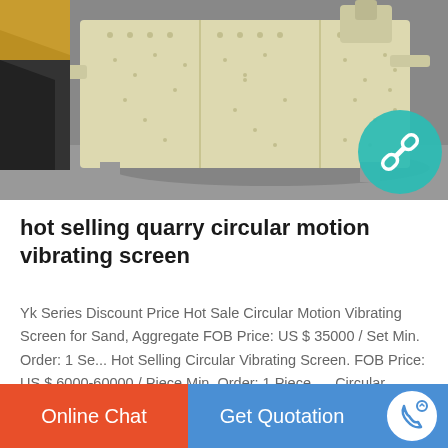[Figure (photo): Industrial vibrating screen machinery — large cream/beige colored rectangular screening unit with bolted panels, visible motor/bearing housing on top, set on grey industrial floor. Partial view of yellow machinery in background left.]
hot selling quarry circular motion vibrating screen
Yk Series Discount Price Hot Sale Circular Motion Vibrating Screen for Sand, Aggregate FOB Price: US $ 35000 / Set Min. Order: 1 Se... Hot Selling Circular Vibrating Screen. FOB Price: US $ 6000-60000 / Piece Min. Order: 1 Piece. ... Circular Vibrating Screen for Quarry and Aggregates Production FOB Price: US $ 30000-30001 / Pi...
Online Chat   Get Quotation